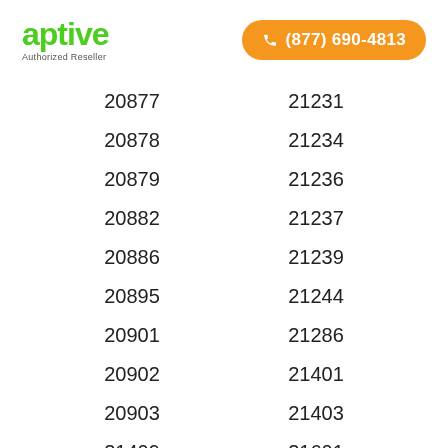[Figure (logo): Aptive logo in green with 'Authorized Reseller' subtitle]
[Figure (infographic): Orange phone button with number (877) 690-4813]
20877
21231
20878
21234
20879
21236
20882
21237
20886
21239
20895
21244
20901
21286
20902
21401
20903
21403
21409
21601
21613
21617